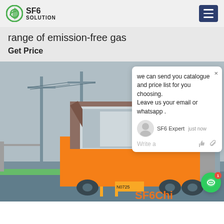SF6 SOLUTION
range of emission-free gas
Get Price
[Figure (photo): A specialized truck/vehicle with an open top container parked at an electrical substation or power transmission site. High-voltage towers and power lines visible in the background. The vehicle appears to be equipment used for SF6 gas handling. Bottom right shows partial text 'SF6Chi...' in orange.]
we can send you catalogue and price list for you choosing. Leave us your email or whatsapp .
SF6 Expert   just now
Write a